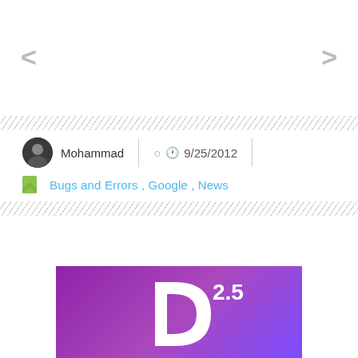<
>
Mohammad   /   9/25/2012
Bugs and Errors , Google , News
[Figure (logo): Purple background with a stylized 'D' logo and '2.5' text in white]